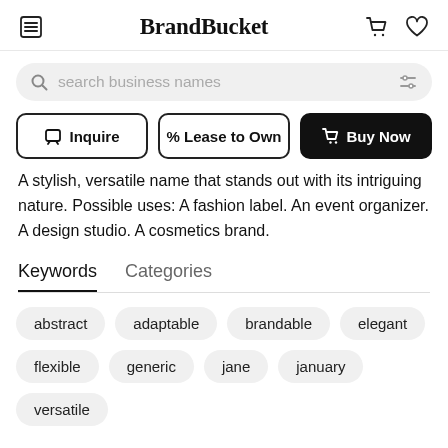BrandBucket
search business names
Inquire   % Lease to Own   Buy Now
A stylish, versatile name that stands out with its intriguing nature. Possible uses: A fashion label. An event organizer. A design studio. A cosmetics brand.
Keywords   Categories
abstract
adaptable
brandable
elegant
flexible
generic
jane
january
versatile